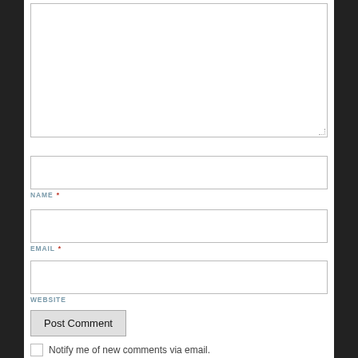[Figure (screenshot): A web comment form with a large textarea at top, followed by NAME, EMAIL, WEBSITE input fields each with a label below, a Post Comment button, and a checkbox with text 'Notify me of new comments via email.']
NAME *
EMAIL *
WEBSITE
Post Comment
Notify me of new comments via email.